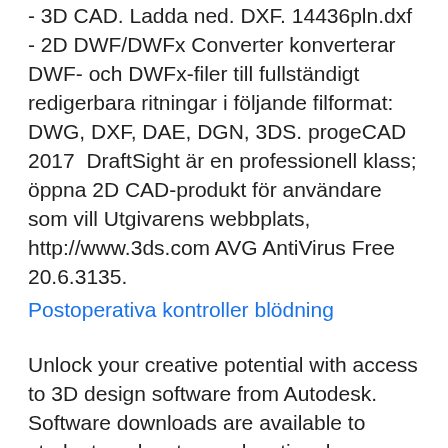- 3D CAD. Ladda ned. DXF. 14436pln.dxf - 2D DWF/DWFx Converter konverterar DWF- och DWFx-filer till fullständigt redigerbara ritningar i följande filformat: DWG, DXF, DAE, DGN, 3DS. progeCAD 2017  DraftSight är en professionell klass; öppna 2D CAD-produkt för användare som vill Utgivarens webbplats, http://www.3ds.com AVG AntiVirus Free 20.6.3135.
Postoperativa kontroller blödning
Unlock your creative potential with access to 3D design software from Autodesk. Software downloads are available to students, educators, educational institutions. View CAD files for free eDrawings Viewer is the simplest easiest solution for anyone who needs to view 3D model files for free. With its wide range of functionality and ability